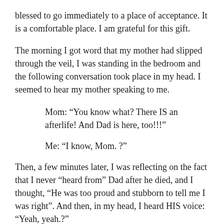blessed to go immediately to a place of acceptance. It is a comfortable place. I am grateful for this gift.
The morning I got word that my mother had slipped through the veil, I was standing in the bedroom and the following conversation took place in my head. I seemed to hear my mother speaking to me.
Mom: “You know what? There IS an afterlife! And Dad is here, too!!!”
Me: “I know, Mom. ?”
Then, a few minutes later, I was reflecting on the fact that I never “heard from” Dad after he died, and I thought, “He was too proud and stubborn to tell me I was right”. And then, in my head, I heard HIS voice: “Yeah, yeah.?”
As I wrote my prayers in the days following my